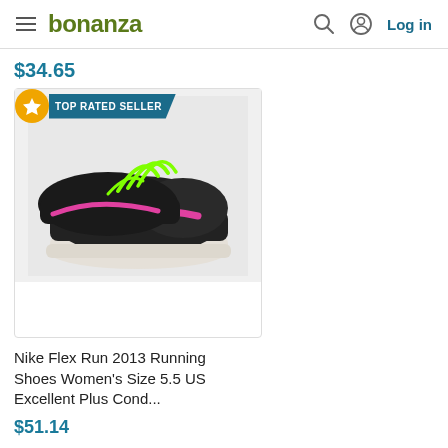bonanza | Log in
$34.65
[Figure (photo): Nike Flex Run 2013 Running Shoes Women's black with pink swoosh and green laces, top-rated seller badge]
Nike Flex Run 2013 Running Shoes Women's Size 5.5 US Excellent Plus Cond...
$51.14
TOP RATED SELLER